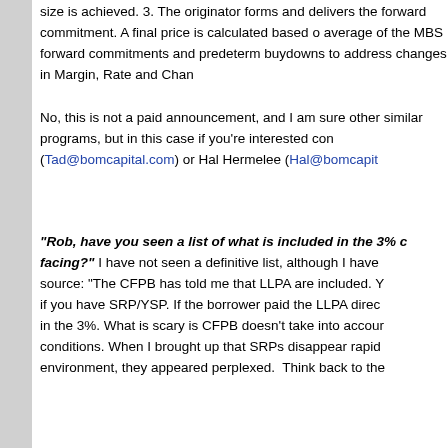size is achieved. 3. The originator forms and delivers the forward commitment. A final price is calculated based on average of the MBS forward commitments and predetermined buydowns to address changes in Margin, Rate and Chan...
No, this is not a paid announcement, and I am sure other similar programs, but in this case if you're interested con... (Tad@bomcapital.com) or Hal Hermelee (Hal@bomcapit...
"Rob, have you seen a list of what is included in the 3% d... facing?" I have not seen a definitive list, although I have source: "The CFPB has told me that LLPA are included. Y... if you have SRP/YSP. If the borrower paid the LLPA direc... in the 3%. What is scary is CFPB doesn't take into accoun... conditions. When I brought up that SRPs disappear rapid... environment, they appeared perplexed. Think back to the...